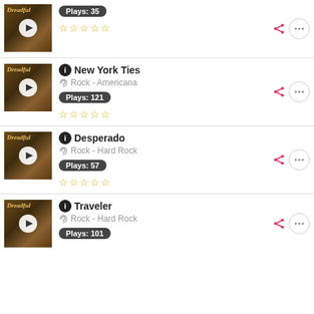[Figure (screenshot): Music track listing app UI with album thumbnails, play buttons, track info, plays counts, star ratings, and action icons]
Track 1 — Plays: 35, 5 empty stars
New York Ties — Rock - Americana — Plays: 121, 5 empty stars
Desperado — Rock - Hard Rock — Plays: 57, 5 empty stars
Traveler — Rock - Hard Rock — Plays: 101